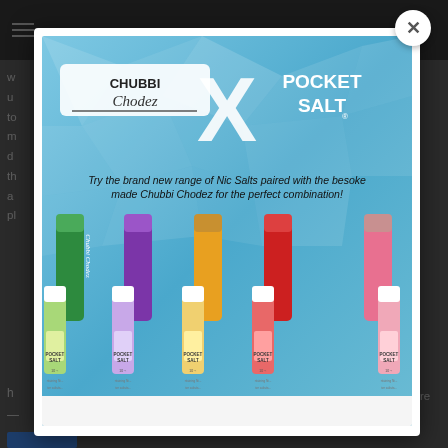[Figure (screenshot): Screenshot of a webpage with a modal popup advertisement for Chubbi Chodez X Pocket Salt vaping products. The modal shows colorful vape devices and nic salt bottles in green, purple, yellow, red, and pink colors. Text reads: 'Try the brand new range of Nic Salts paired with the besoke made Chubbi Chodez for the perfect combination!' The modal has a white X close button in the top right corner.]